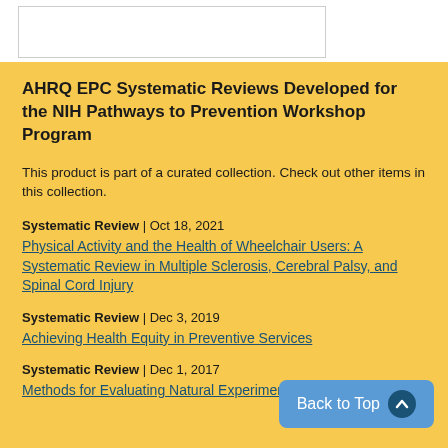AHRQ EPC Systematic Reviews Developed for the NIH Pathways to Prevention Workshop Program
This product is part of a curated collection. Check out other items in this collection.
Systematic Review | Oct 18, 2021
Physical Activity and the Health of Wheelchair Users: A Systematic Review in Multiple Sclerosis, Cerebral Palsy, and Spinal Cord Injury
Systematic Review | Dec 3, 2019
Achieving Health Equity in Preventive Services
Systematic Review | Dec 1, 2017
Methods for Evaluating Natural Experiments in Obesity: